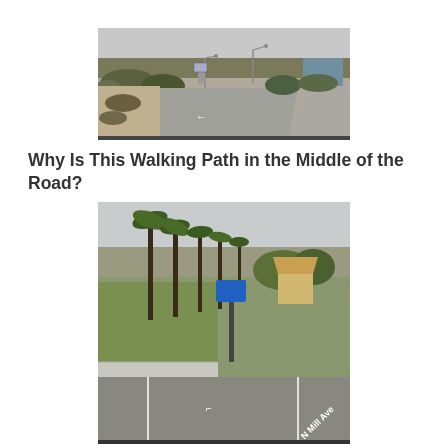[Figure (photo): Street-level photo of a road in a desert/arid environment with shrubs and desert vegetation on the sides, street lights, a road sign, and a curved road. Arrow markings are visible on the road surface.]
Why Is This Walking Path in the Middle of the Road?
[Figure (photo): Street-level photo of a road with palm trees and other greenery on the left side, a blue sign visible, a thatched-roof structure in the background, and a road with lane markings. Text 'N Mill Ave' visible on the road surface.]